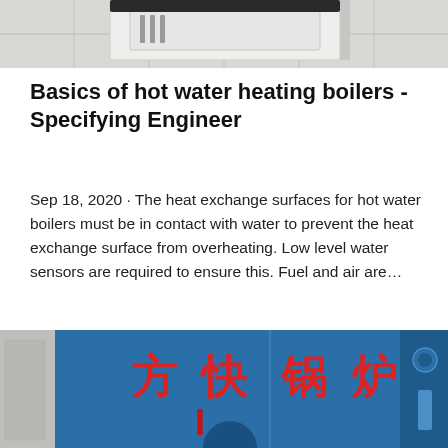[Figure (photo): Top portion of a white industrial boiler unit on a tiled floor, cropped at the top of the page.]
Basics of hot water heating boilers - Specifying Engineer
Sep 18, 2020 · The heat exchange surfaces for hot water boilers must be in contact with water to prevent the heat exchange surface from overheating. Low level water sensors are required to ensure this. Fuel and air are…
[Figure (photo): Blue industrial boiler unit with red Chinese characters reading 方快锅炉 (Fangkuai Boiler), partially visible at the bottom of the page.]